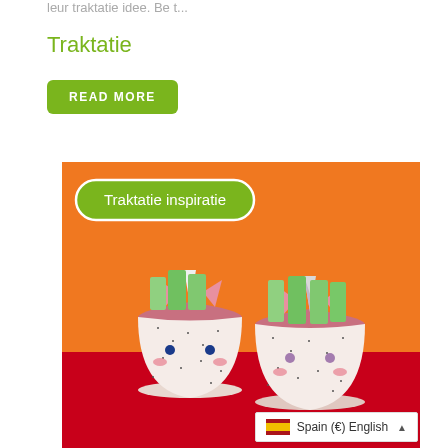leur traktatie idee. Be t...
Traktatie
READ MORE
[Figure (photo): Photo of two unicorn-themed decorated paper cups with candy treats on an orange and red background, with a green oval badge reading 'Traktatie inspiratie']
Spain (€) English